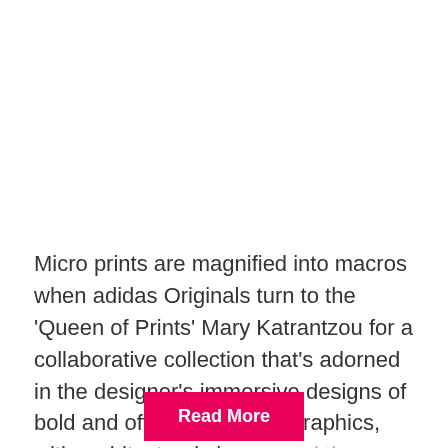Micro prints are magnified into macros when adidas Originals turn to the 'Queen of Prints' Mary Katrantzou for a collaborative collection that's adorned in the designer's immersive designs of bold and often subversive graphics, with architectural shapes and the latest technologies.
Read More